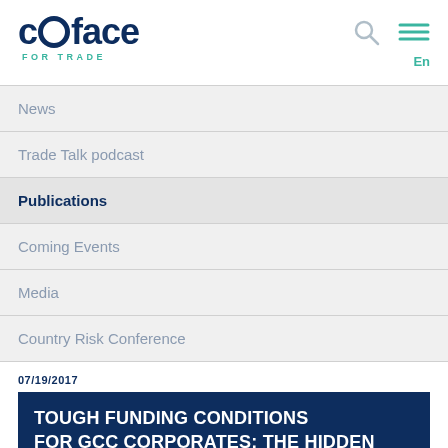[Figure (logo): Coface For Trade logo — dark navy wordmark with two circular letter-O shapes, and 'FOR TRADE' in teal below]
News
Trade Talk podcast
Publications
Coming Events
Media
Country Risk Conference
07/19/2017
TOUGH FUNDING CONDITIONS FOR GCC CORPORATES: THE HIDDEN EFFECT OF LOWER OIL PRICES